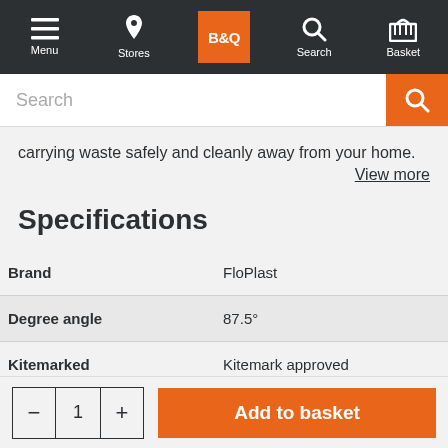[Figure (screenshot): B&Q website navigation bar with Menu, Stores, B&Q logo, Search, and Basket icons on dark background]
[Figure (screenshot): Search input bar with orange search button]
carrying waste safely and cleanly away from your home.
View more
Specifications
| Attribute | Value |
| --- | --- |
| Brand | FloPlast |
| Degree angle | 87.5° |
| Kitemarked | Kitemark approved |
| Location | Internal |